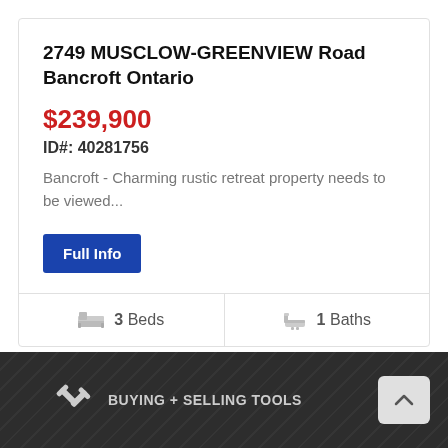2749 MUSCLOW-GREENVIEW Road Bancroft Ontario
$239,900
ID#: 40281756
Bancroft - Charming rustic retreat property needs to be viewed...
Full Info
3 Beds
1 Baths
BUYING + SELLING TOOLS